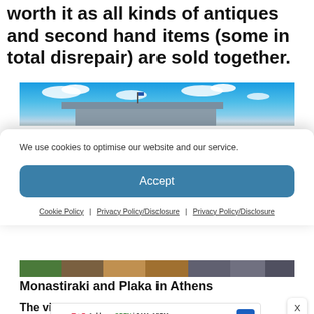worth it as all kinds of antiques and second hand items (some in total disrepair) are sold together.
[Figure (photo): Exterior photo of a building against a blue sky with clouds]
We use cookies to optimise our website and our service.
Accept
Cookie Policy   Privacy Policy/Disclosure   Privacy Policy/Disclosure
[Figure (photo): Colorful market scene photo strip]
Monastiraki and Plaka in Athens
The vibrant market attracts all kinds of
[Figure (screenshot): Walgreens advertisement banner: Ashburn OPEN 8AM-10PM, 20321 Susan Leslie Dr, Ashburn]